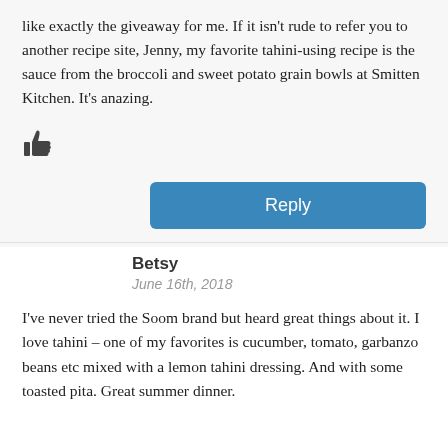like exactly the giveaway for me. If it isn't rude to refer you to another recipe site, Jenny, my favorite tahini-using recipe is the sauce from the broccoli and sweet potato grain bowls at Smitten Kitchen. It's anazing.
[Figure (other): Thumbs up icon (like button)]
Reply
Betsy
June 16th, 2018
I've never tried the Soom brand but heard great things about it. I love tahini – one of my favorites is cucumber, tomato, garbanzo beans etc mixed with a lemon tahini dressing. And with some toasted pita. Great summer dinner.